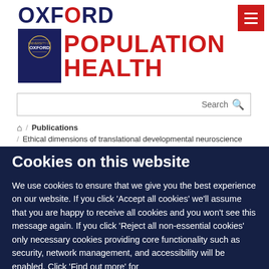[Figure (logo): Oxford Population Health logo with University of Oxford shield and text]
[Figure (other): Hamburger menu button (red background, three white lines)]
Search
/ Publications
/ Ethical dimensions of translational developmental neuroscience
Cookies on this website
We use cookies to ensure that we give you the best experience on our website. If you click 'Accept all cookies' we'll assume that you are happy to receive all cookies and you won't see this message again. If you click 'Reject all non-essential cookies' only necessary cookies providing core functionality such as security, network management, and accessibility will be enabled. Click 'Find out more' for